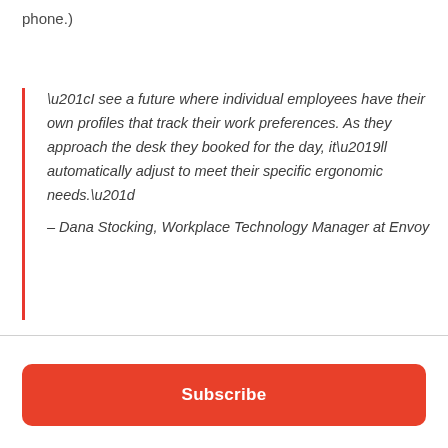phone.)
“I see a future where individual employees have their own profiles that track their work preferences. As they approach the desk they booked for the day, it’ll automatically adjust to meet their specific ergonomic needs.” – Dana Stocking, Workplace Technology Manager at Envoy
Subscribe